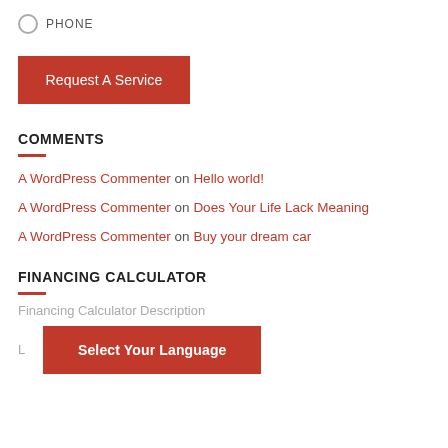PHONE
Request A Service
COMMENTS
A WordPress Commenter on Hello world!
A WordPress Commenter on Does Your Life Lack Meaning
A WordPress Commenter on Buy your dream car
FINANCING CALCULATOR
Financing Calculator Description
Select Your Language